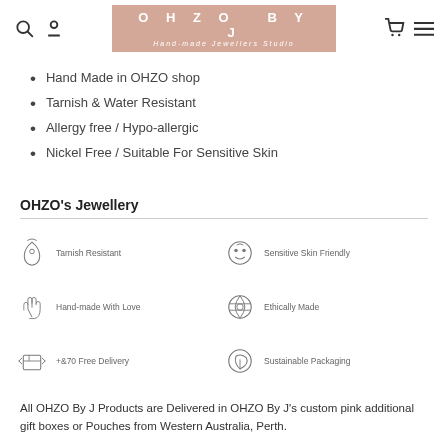OHZO BY J - Hand-made Jewellers Studio
Hand Made in OHZO shop
Tarnish & Water Resistant
Allergy free / Hypo-allergic
Nickel Free / Suitable For Sensitive Skin
OHZO's Jewellery
[Figure (infographic): Six icons with labels: Tarnish Resistant (necklace icon), Sensitive Skin Friendly (face icon), Hand-made With Love (hand icon), Ethically Made (leaf/globe icon), +&70 Free Delivery (box with arrows icon), Sustainable Packaging (leaf icon)]
All OHZO By J Products are Delivered in OHZO By J's custom pink additional gift boxes or Pouches from Western Australia, Perth.